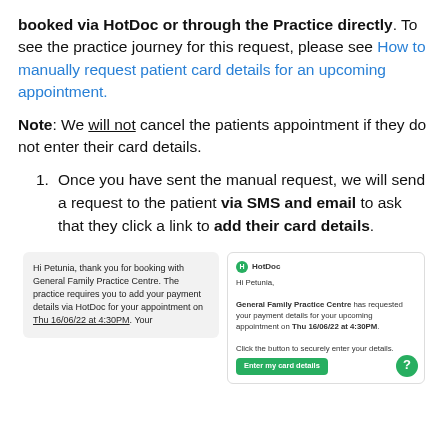booked via HotDoc or through the Practice directly. To see the practice journey for this request, please see How to manually request patient card details for an upcoming appointment.
Note: We will not cancel the patients appointment if they do not enter their card details.
Once you have sent the manual request, we will send a request to the patient via SMS and email to ask that they click a link to add their card details.
[Figure (screenshot): Two screenshots: an SMS message and an email from HotDoc requesting card details for a patient named Petunia for an appointment at General Family Practice Centre on Thu 16/06/22 at 4:30PM.]